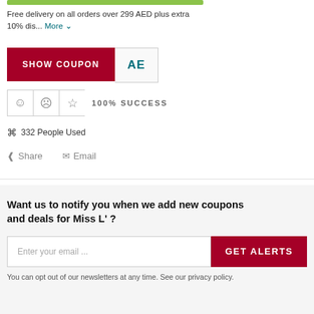Free delivery on all orders over 299 AED plus extra 10% dis... More
[Figure (screenshot): SHOW COUPON button in dark red/maroon with coupon code 'AE' visible in adjacent box]
[Figure (infographic): Rating icons: smiley, sad face, star, followed by 100% SUCCESS text]
332 People Used
Share   Email
Want us to notify you when we add new coupons and deals for Miss L' ?
Enter your email ...
GET ALERTS
You can opt out of our newsletters at any time. See our privacy policy.